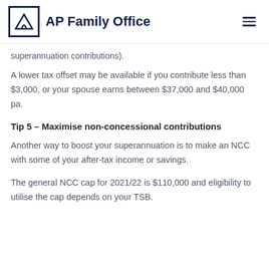AP Family Office
superannuation contributions).
A lower tax offset may be available if you contribute less than $3,000, or your spouse earns between $37,000 and $40,000 pa.
Tip 5 – Maximise non-concessional contributions
Another way to boost your superannuation is to make an NCC with some of your after-tax income or savings.
The general NCC cap for 2021/22 is $110,000 and eligibility to utilise the cap depends on your TSB.